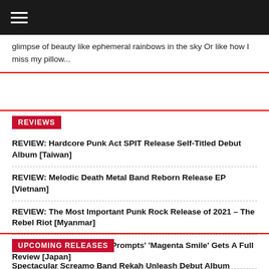glimpse of beauty like ephemeral rainbows in the sky Or like how I miss my pillow...
REVIEWS
REVIEW: Hardcore Punk Act SPIT Release Self-Titled Debut Album [Taiwan]
REVIEW: Melodic Death Metal Band Reborn Release EP [Vietnam]
REVIEW: The Most Important Punk Rock Release of 2021 – The Rebel Riot [Myanmar]
REVIEW: Metalcore Band Prompts' 'Magenta Smile' Gets A Full Review [Japan]
REVIEW: Dance In The Maze With Bridear's Bloody Bride [Japan]
UPCOMING RELEASES
Spectacular Screamo Band Rekah Unleash Debut Album 'Kiamat' [Indonesia]